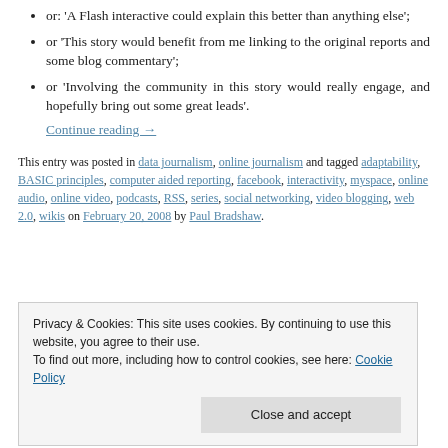or: 'A Flash interactive could explain this better than anything else';
or 'This story would benefit from me linking to the original reports and some blog commentary';
or 'Involving the community in this story would really engage, and hopefully bring out some great leads'. Continue reading →
This entry was posted in data journalism, online journalism and tagged adaptability, BASIC principles, computer aided reporting, facebook, interactivity, myspace, online audio, online video, podcasts, RSS, series, social networking, video blogging, web 2.0, wikis on February 20, 2008 by Paul Bradshaw.
Privacy & Cookies: This site uses cookies. By continuing to use this website, you agree to their use. To find out more, including how to control cookies, see here: Cookie Policy
crowdsourced overview